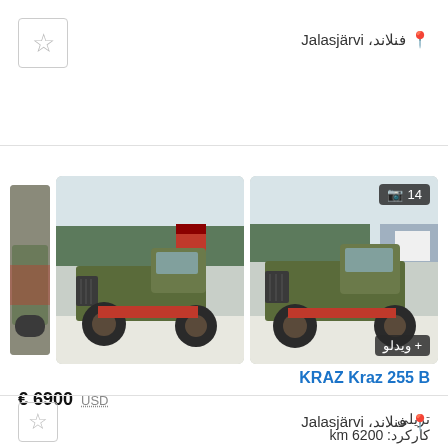فنلاند، Jalasjärvi
[Figure (photo): Military truck KRAZ 255B, olive green color, large off-road tires, side view, snowy background in Finland]
[Figure (photo): Military truck KRAZ 255B, olive green color, large off-road tires, front-side view, snowy background in Finland, photo badge showing 14 photos]
KRAZ Kraz 255 B
6900 € USD
تریلی
کارکرد: 6200 km
فنلاند، Jalasjärvi